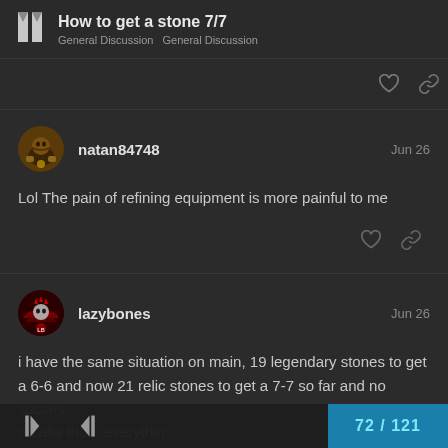How to get a stone 7/7 · General Discussion · General Discussion
natan84748 · Jun 26 · Lol The pain of refining equipment is more painful to me
lazybones · Jun 26 · i have the same situation on main, 19 legendary stones to get a 6-6 and now 21 relic stones to get a 7-7 so far and no succes on alts tho... everything on aris stone ever
72 / 121